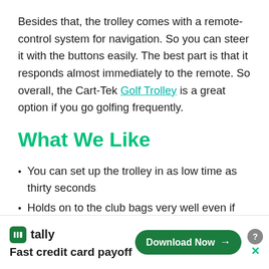Besides that, the trolley comes with a remote-control system for navigation. So you can steer it with the buttons easily. The best part is that it responds almost immediately to the remote. So overall, the Cart-Tek Golf Trolley is a great option if you go golfing frequently.
What We Like
You can set up the trolley in as low time as thirty seconds
Holds on to the club bags very well even if you overload the trolley
(partial, cut off at bottom)
[Figure (infographic): Tally app advertisement banner at bottom: 'Fast credit card payoff' with a Download Now button and close/help icons]